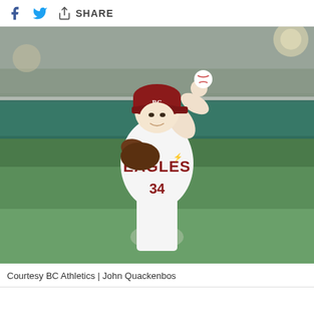SHARE
[Figure (photo): A Boston College Eagles baseball pitcher wearing number 34 in a white uniform mid-throw, holding a baseball raised above his head, wearing a maroon cap, with a baseball field and stands in the background.]
Courtesy BC Athletics | John Quackenbos